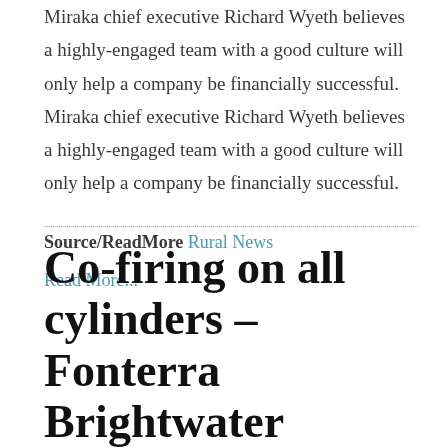Miraka chief executive Richard Wyeth believes a highly-engaged team with a good culture will only help a company be financially successful. Miraka chief executive Richard Wyeth believes a highly-engaged team with a good culture will only help a company be financially successful.
Source/ReadMore Rural News
Read More...
Co-firing on all cylinders – Fonterra Brightwater